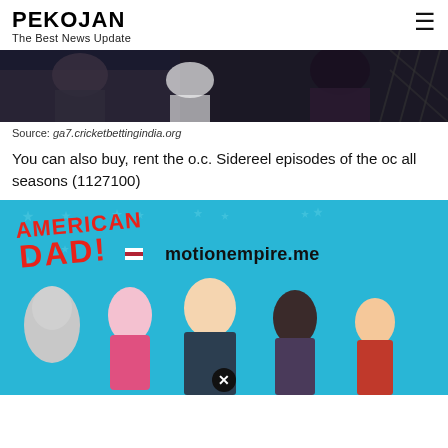PEKOJAN
The Best News Update
[Figure (photo): Dark photograph showing people at what appears to be a social event or party, cropped at top of page.]
Source: ga7.cricketbettingindia.org
You can also buy, rent the o.c. Sidereel episodes of the oc all seasons (1127100)
[Figure (screenshot): American Dad animated TV show promotional image with characters on a blue starry background and motionempire.me text overlay.]